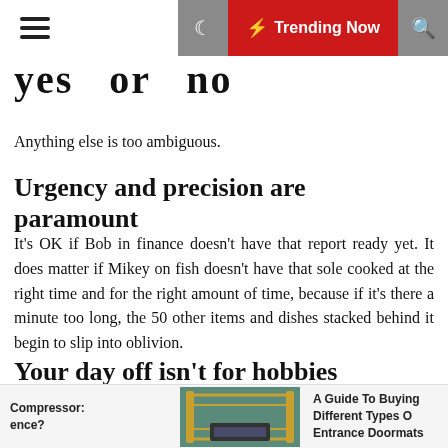≡  🌙  ⚡ Trending Now  🔍
yes  or  no
Anything else is too ambiguous.
Urgency and precision are paramount
It's OK if Bob in finance doesn't have that report ready yet. It does matter if Mikey on fish doesn't have that sole cooked at the right time and for the right amount of time, because if it's there a minute too long, the 50 other items and dishes stacked behind it begin to slip into oblivion.
Your day off isn't for hobbies
It's for doing laundry. Really, really smelly laundry.
Compressor: ence?   [ad image]   A Guide To Buying Different Types Of Entrance Doormats